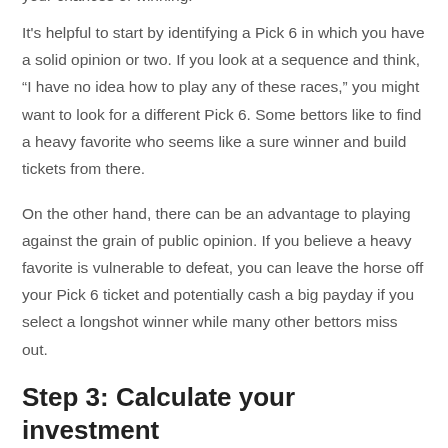your chances of winning.
It's helpful to start by identifying a Pick 6 in which you have a solid opinion or two. If you look at a sequence and think, “I have no idea how to play any of these races,” you might want to look for a different Pick 6. Some bettors like to find a heavy favorite who seems like a sure winner and build tickets from there.
On the other hand, there can be an advantage to playing against the grain of public opinion. If you believe a heavy favorite is vulnerable to defeat, you can leave the horse off your Pick 6 ticket and potentially cash a big payday if you select a longshot winner while many other bettors miss out.
Step 3: Calculate your investment
Calculating the cost of a Pick 6 ticket isn’t difficult. It’s simply a multiplication problem involving the number of horses you include in each leg and the amount you’re betting per ticket.